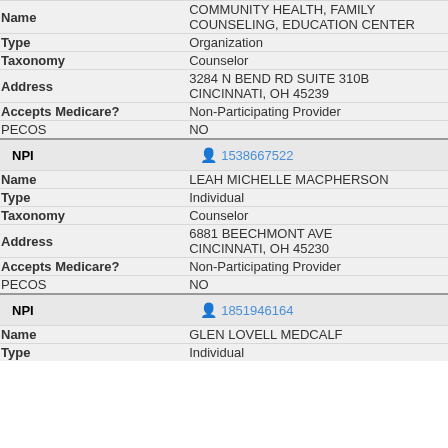| Field | Value |
| --- | --- |
| Name | COMMUNITY HEALTH, FAMILY COUNSELING, EDUCATION CENTER |
| Type | Organization |
| Taxonomy | Counselor |
| Address | 3284 N BEND RD SUITE 310B
CINCINNATI, OH 45239 |
| Accepts Medicare? | Non-Participating Provider |
| PECOS | NO |
| NPI | 1538667522 |
| Name | LEAH MICHELLE MACPHERSON |
| Type | Individual |
| Taxonomy | Counselor |
| Address | 6881 BEECHMONT AVE
CINCINNATI, OH 45230 |
| Accepts Medicare? | Non-Participating Provider |
| PECOS | NO |
| NPI | 1851946164 |
| Name | GLEN LOVELL MEDCALF |
| Type | Individual |